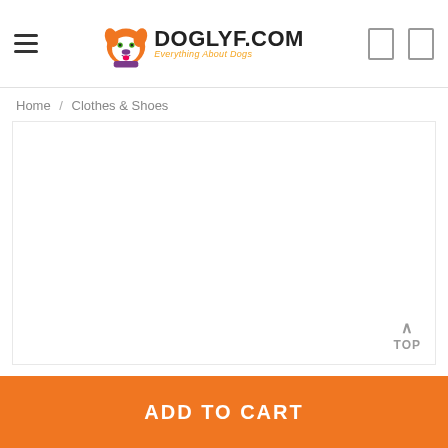DOGLYF.COM — Everything About Dogs
Home / Clothes & Shoes
[Figure (other): Empty white product listing area for Clothes & Shoes category on doglyf.com]
ADD TO CART